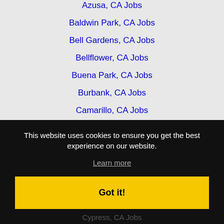Azusa, CA Jobs
Baldwin Park, CA Jobs
Bell Gardens, CA Jobs
Bellflower, CA Jobs
Buena Park, CA Jobs
Burbank, CA Jobs
Camarillo, CA Jobs
Carlsbad, CA Jobs
Carson, CA Jobs
Catalina Island, CA Jobs
This website uses cookies to ensure you get the best experience on our website.
Learn more
Got it!
Cypress, CA Jobs